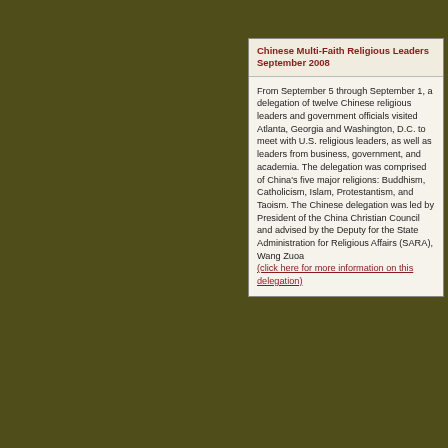Chinese Multi-Faith Religious Leaders September 2008
From September 5 through September 1, a delegation of twelve Chinese religious leaders and government officials visited Atlanta, Georgia and Washington, D.C. to meet with U.S. religious leaders, as well as leaders from business, government, and academia. The delegation was comprised of China's five major religions: Buddhism, Catholicism, Islam, Protestantism, and Taoism. The Chinese delegation was led by President of the China Christian Council and advised by the Deputy for the State Administration for Religious Affairs (SARA), Wang Zuoa (click here for more information on this delegation)